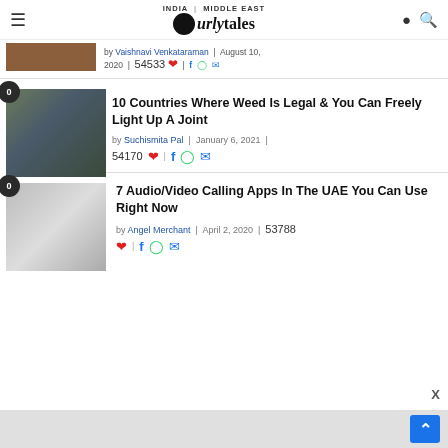INDIA | MIDDLE EAST — Curly Tales
by Vaishnavi Venkataraman | August 10, 2020 | 54533 ❤ | f w mail
[Figure (photo): Person exhaling smoke/vaping, holding a lighter]
10 Countries Where Weed Is Legal & You Can Freely Light Up A Joint
by Suchismita Pal | January 6, 2021 | 54170 ❤ | f w mail
[Figure (photo): Person holding a smartphone showing a video call grid]
7 Audio/Video Calling Apps In The UAE You Can Use Right Now
by Angel Merchant | April 2, 2020 | 53788 ❤ | f w mail